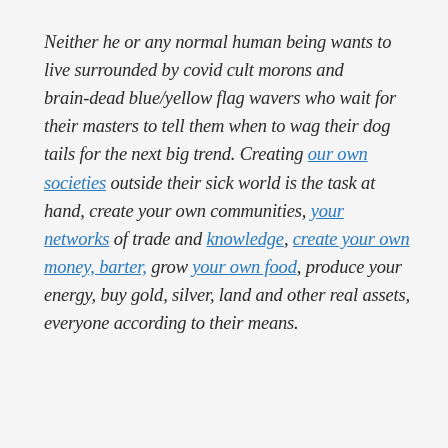Neither he or any normal human being wants to live surrounded by covid cult morons and brain-dead blue/yellow flag wavers who wait for their masters to tell them when to wag their dog tails for the next big trend. Creating our own societies outside their sick world is the task at hand, create your own communities, your networks of trade and knowledge, create your own money, barter, grow your own food, produce your energy, buy gold, silver, land and other real assets, everyone according to their means.